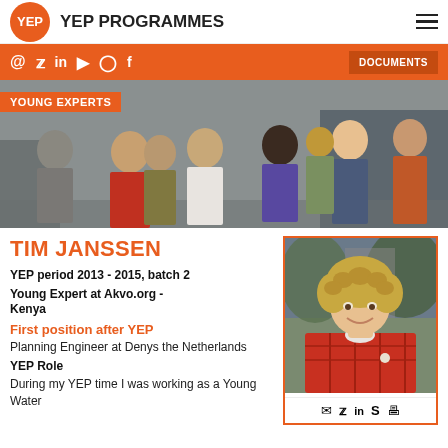YEP PROGRAMMES
[Figure (photo): Group of young people standing outdoors with 'YOUNG EXPERTS' label overlay]
TIM JANSSEN
YEP period 2013 - 2015, batch 2
Young Expert at Akvo.org - Kenya
First position after YEP
Planning Engineer at Denys the Netherlands
YEP Role
During my YEP time I was working as a Young Water
[Figure (photo): Portrait photo of Tim Janssen, a young man with curly blonde hair wearing a red plaid shirt, smiling]